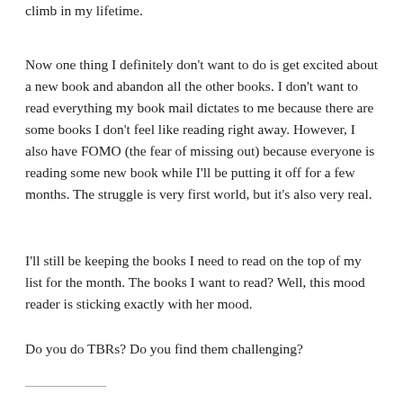climb in my lifetime.
Now one thing I definitely don't want to do is get excited about a new book and abandon all the other books. I don't want to read everything my book mail dictates to me because there are some books I don't feel like reading right away. However, I also have FOMO (the fear of missing out) because everyone is reading some new book while I'll be putting it off for a few months. The struggle is very first world, but it's also very real.
I'll still be keeping the books I need to read on the top of my list for the month. The books I want to read? Well, this mood reader is sticking exactly with her mood.
Do you do TBRs? Do you find them challenging?